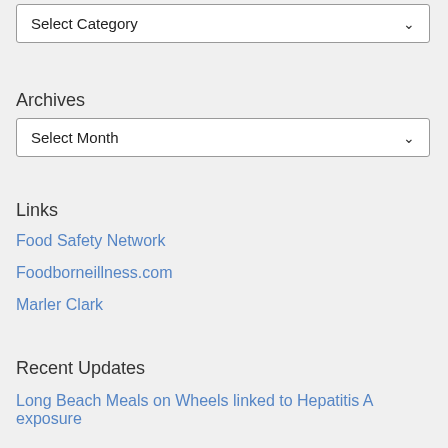[Figure (screenshot): Select Category dropdown box]
Archives
[Figure (screenshot): Select Month dropdown box]
Links
Food Safety Network
Foodborneillness.com
Marler Clark
Recent Updates
Long Beach Meals on Wheels linked to Hepatitis A exposure